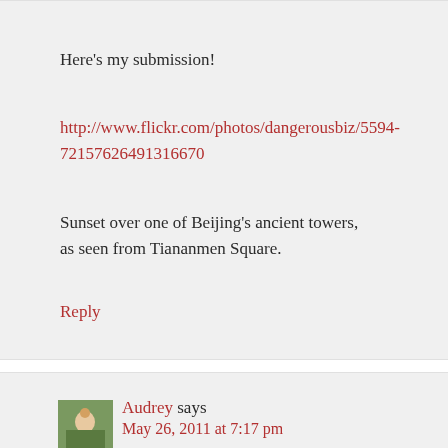Here's my submission!
http://www.flickr.com/photos/dangerousbiz/5594-72157626491316670
Sunset over one of Beijing's ancient towers, as seen from Tiananmen Square.
Reply
[Figure (photo): Avatar photo of Audrey, a person sitting on grass outdoors]
Audrey says
May 26, 2011 at 7:17 pm
From Havana, Cuba! The architecture really